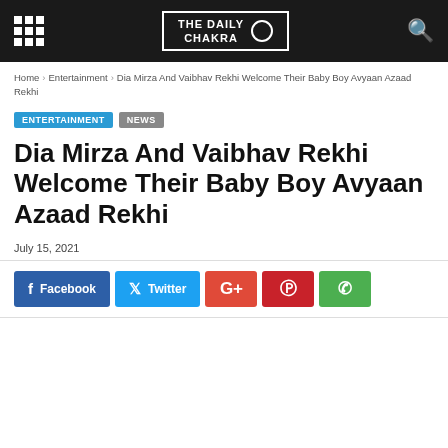THE DAILY CHAKRA
Home > Entertainment > Dia Mirza And Vaibhav Rekhi Welcome Their Baby Boy Avyaan Azaad Rekhi
ENTERTAINMENT
NEWS
Dia Mirza And Vaibhav Rekhi Welcome Their Baby Boy Avyaan Azaad Rekhi
July 15, 2021
[Figure (other): Social share buttons: Facebook, Twitter, G+, Pinterest, WhatsApp]